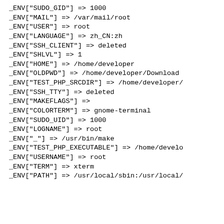_ENV["SUDO_GID"] => 1000
_ENV["MAIL"] => /var/mail/root
_ENV["USER"] => root
_ENV["LANGUAGE"] => zh_CN:zh
_ENV["SSH_CLIENT"] => deleted
_ENV["SHLVL"] => 1
_ENV["HOME"] => /home/developer
_ENV["OLDPWD"] => /home/developer/Download
_ENV["TEST_PHP_SRCDIR"] => /home/developer/
_ENV["SSH_TTY"] => deleted
_ENV["MAKEFLAGS"] =>
_ENV["COLORTERM"] => gnome-terminal
_ENV["SUDO_UID"] => 1000
_ENV["LOGNAME"] => root
_ENV["_"] => /usr/bin/make
_ENV["TEST_PHP_EXECUTABLE"] => /home/develo
_ENV["USERNAME"] => root
_ENV["TERM"] => xterm
_ENV["PATH"] => /usr/local/sbin:/usr/local/